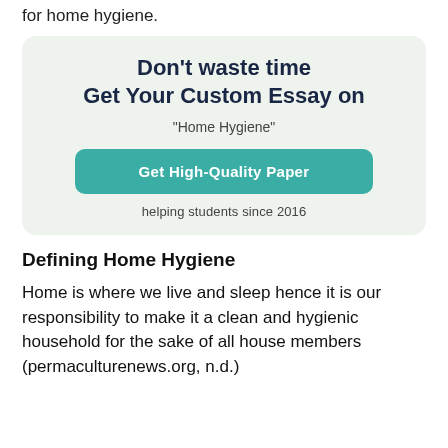for home hygiene.
[Figure (infographic): Promotional card with dark teal/green background: 'Don't waste time Get Your Custom Essay on "Home Hygiene"' with a teal button 'Get High-Quality Paper' and text 'helping students since 2016']
Defining Home Hygiene
Home is where we live and sleep hence it is our responsibility to make it a clean and hygienic household for the sake of all house members (permaculturenews.org, n.d.)